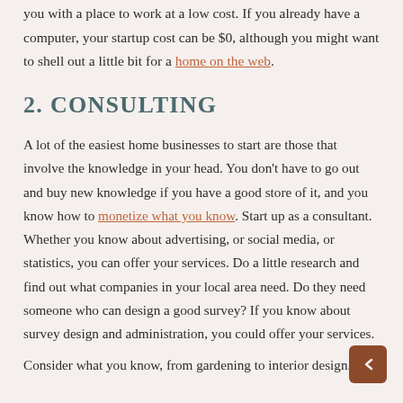you with a place to work at a low cost. If you already have a computer, your startup cost can be $0, although you might want to shell out a little bit for a home on the web.
2. CONSULTING
A lot of the easiest home businesses to start are those that involve the knowledge in your head. You don't have to go out and buy new knowledge if you have a good store of it, and you know how to monetize what you know. Start up as a consultant. Whether you know about advertising, or social media, or statistics, you can offer your services. Do a little research and find out what companies in your local area need. Do they need someone who can design a good survey? If you know about survey design and administration, you could offer your services.
Consider what you know, from gardening to interior design.